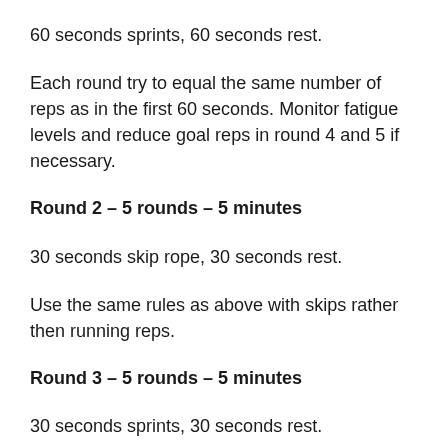60 seconds sprints, 60 seconds rest.
Each round try to equal the same number of reps as in the first 60 seconds. Monitor fatigue levels and reduce goal reps in round 4 and 5 if necessary.
Round 2 – 5 rounds – 5 minutes
30 seconds skip rope, 30 seconds rest.
Use the same rules as above with skips rather then running reps.
Round 3 – 5 rounds – 5 minutes
30 seconds sprints, 30 seconds rest.